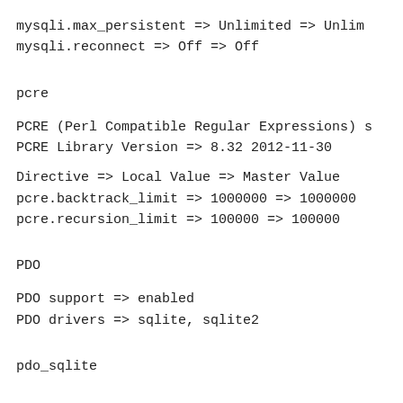mysqli.max_persistent => Unlimited => Unlim
mysqli.reconnect => Off => Off
pcre
PCRE (Perl Compatible Regular Expressions) s
PCRE Library Version => 8.32 2012-11-30
Directive => Local Value => Master Value
pcre.backtrack_limit => 1000000 => 1000000
pcre.recursion_limit => 100000 => 100000
PDO
PDO support => enabled
PDO drivers => sqlite, sqlite2
pdo_sqlite